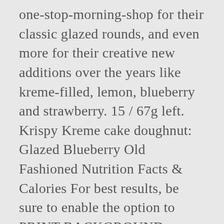one-stop-morning-shop for their classic glazed rounds, and even more for their creative new additions over the years like kreme-filled, lemon, blueberry and strawberry. 15 / 67g left. Krispy Kreme cake doughnut: Glazed Blueberry Old Fashioned Nutrition Facts & Calories For best results, be sure to enable the option to PRINT BACKGROUND IMAGES in the following browsers: - Firefox ( File > Page Setup > Format & Options ) - Internet Explorer 6/7 ( Tools > Internet Options > Advanced > Printing ) - In Internet Explorer 7 you will need to adjust the default "Shrink To Fit" setting. 2,000 calories a day is used for general nutrition advice. Calories, carbs, fat, protein,